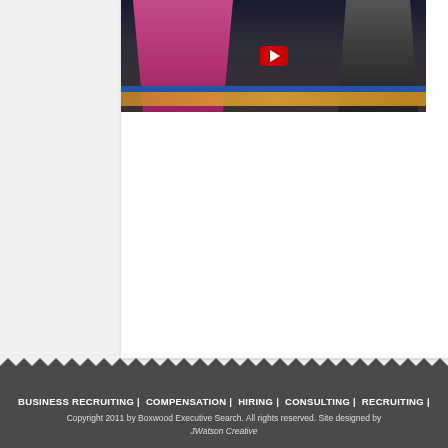[Figure (screenshot): YouTube video thumbnail showing two people on a TV set — a woman in a pink/magenta dress on the left and a man in a dark suit with blue tie on the right, with a play button overlay in the center]
BUSINESS RECRUITING | COMPENSATION | HIRING | CONSULTING | RECRUITING | Copyright 2011 by Boxwood Executive Search. All rights reserved. Site designed by JWatson Creative